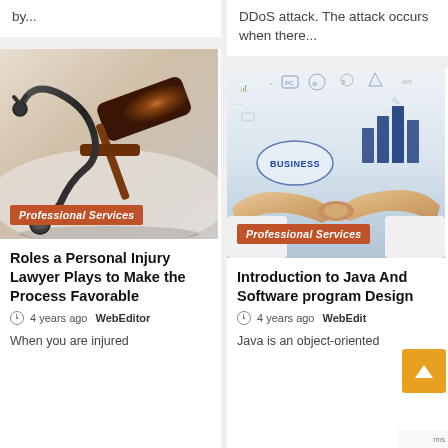by...
DDoS attack. The attack occurs when there...
[Figure (photo): Stethoscope and wooden gavel on a white surface representing medical legal concepts]
Professional Services
Roles a Personal Injury Lawyer Plays to Make the Process Favorable
4 years ago  WebEditor
When you are injured
[Figure (photo): Two businessmen shaking hands with business concept icons and bar chart in background]
Professional Services
Introduction to Java And Software program Design
4 years ago  WebEdit
Java is an object-oriented